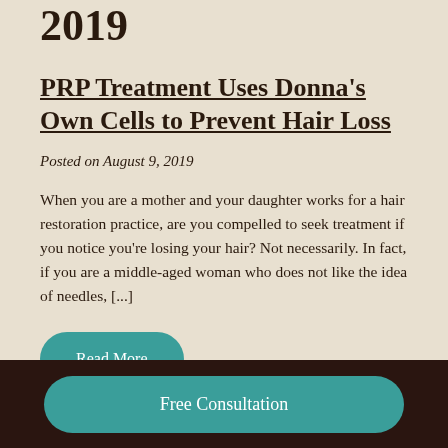2019
PRP Treatment Uses Donna’s Own Cells to Prevent Hair Loss
Posted on August 9, 2019
When you are a mother and your daughter works for a hair restoration practice, are you compelled to seek treatment if you notice you’re losing your hair? Not necessarily. In fact, if you are a middle-aged woman who does not like the idea of needles, [...]
Read More
Free Consultation